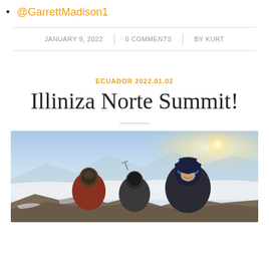@GarrettMadison1
JANUARY 9, 2022 | 0 COMMENTS | BY KURT
ECUADOR 2022.01.02
Illiniza Norte Summit!
[Figure (photo): Three mountaineers in cold-weather gear posing for a selfie on a high-altitude summit with clouds and mountain peaks visible in the background.]